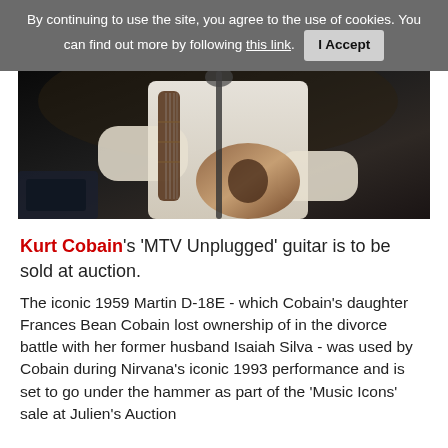By continuing to use the site, you agree to the use of cookies. You can find out more by following this link. I Accept
[Figure (photo): A performer in a white shirt playing an electric guitar on stage, with a microphone stand visible, dark background typical of a concert or TV performance setting.]
Kurt Cobain's 'MTV Unplugged' guitar is to be sold at auction.
The iconic 1959 Martin D-18E - which Cobain's daughter Frances Bean Cobain lost ownership of in the divorce battle with her former husband Isaiah Silva - was used by Cobain during Nirvana's iconic 1993 performance and is set to go under the hammer as part of the 'Music Icons' sale at Julien's Auction